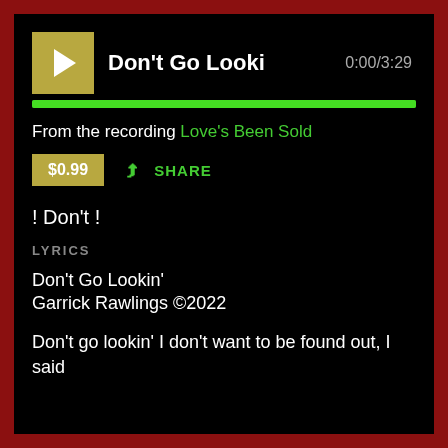[Figure (other): Music player UI with album art thumbnail showing play button, track title 'Don't Go Looki', timestamp '0:00/3:29', and a green progress bar spanning full width]
From the recording Love's Been Sold
$0.99   SHARE
! Don't !
LYRICS
Don't Go Lookin'
Garrick Rawlings ©2022
Don't go lookin' I don't want to be found out, I said